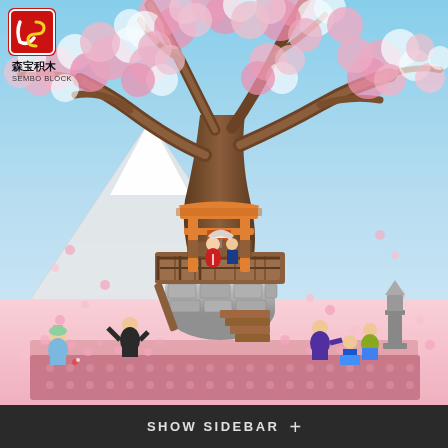[Figure (photo): Product photo of Sembo Block Japanese cherry blossom tree house building block set. Shows a detailed LEGO-style construction with a large pink cherry blossom tree (sakura), a Japanese torii gate and wooden elevated platform/treehouse, stone base with stairs, multiple minifigures including people in traditional Japanese clothing and tourists, scattered pink petals on a baseplate, a stone lantern, and Mt. Fuji visible in the background. The Sembo Block logo (red box with 'CS' letters and Chinese text 森宝积木 / SEMBO BLOCK) appears in the top-left corner.]
SHOW SIDEBAR +